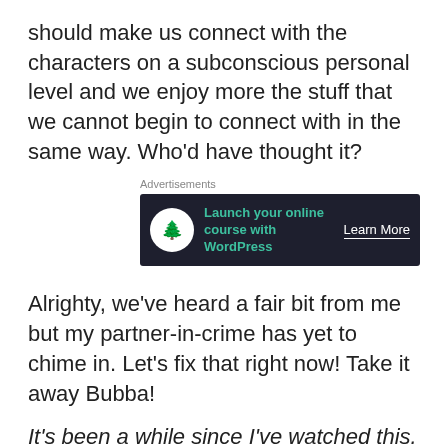should make us connect with the characters on a subconscious personal level and we enjoy more the stuff that we cannot begin to connect with in the same way. Who'd have thought it?
[Figure (other): Advertisement banner for WordPress online course with dark background, tree logo, teal text 'Launch your online course with WordPress' and 'Learn More' button]
Alrighty, we've heard a fair bit from me but my partner-in-crime has yet to chime in. Let's fix that right now! Take it away Bubba!
It's been a while since I've watched this. In fact, I think I watched it once during the first year of this site and I don't think I've re-watched it since. I do enjoy Thor as a character and a setting as I'm a fan of high fantasy and Thor is a mix of high fantasy and superhero, and this first